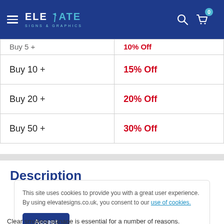[Figure (screenshot): Elevate Signs & Graphics website header with logo, hamburger menu, search icon, and cart icon with badge showing 0]
| Quantity | Discount |
| --- | --- |
| Buy 5 + | 10% Off |
| Buy 10 + | 15% Off |
| Buy 20 + | 20% Off |
| Buy 50 + | 30% Off |
Description
This site uses cookies to provide you with a great user experience. By using elevatesigns.co.uk, you consent to our use of cookies.
Clear smoking signage is essential for a number of reasons.